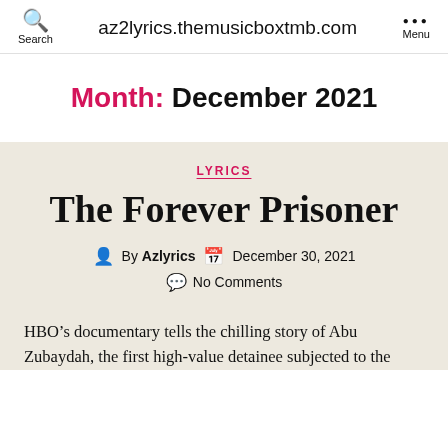az2lyrics.themusicboxtmb.com
Month: December 2021
LYRICS
The Forever Prisoner
By Azlyrics   December 30, 2021   No Comments
HBO’s documentary tells the chilling story of Abu Zubaydah, the first high-value detainee subjected to the